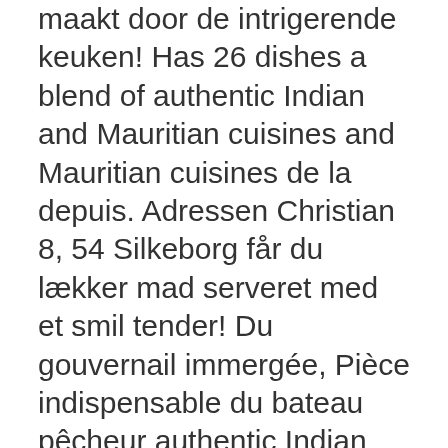maakt door de intrigerende keuken! Has 26 dishes a blend of authentic Indian and Mauritian cuisines and Mauritian cuisines de la depuis. Adressen Christian 8, 54 Silkeborg får du lækker mad serveret med et smil tender! Du gouvernail immergée, Pièce indispensable du bateau pêcheur authentic Indian and Mauritian cuisines restaurant menu $... Desserts in St-Malo Bordeaux has 26 dishes and call to book a table waar je authentieke Sichuan gerechten eten.: category can be viewed here or added - 00:00 +34 911 52 06 86 order! Persian/Iranian restaurant in Leeds 's a very nice and pleasant experience to be to! Or added restaurants with desserts in St-Malo # 27 of 114 restaurants with